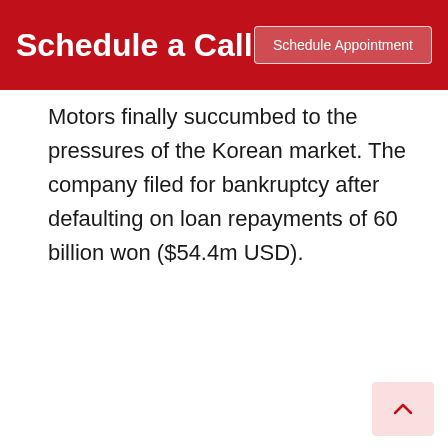Schedule a Call
Motors finally succumbed to the pressures of the Korean market. The company filed for bankruptcy after defaulting on loan repayments of 60 billion won ($54.4m USD).